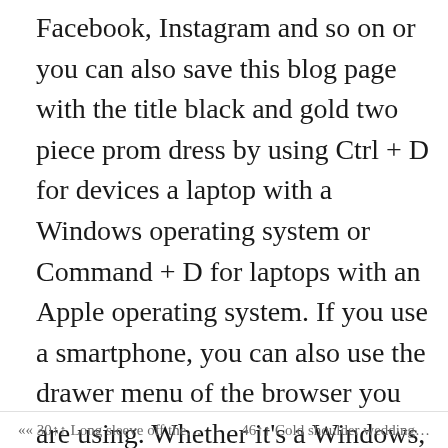Facebook, Instagram and so on or you can also save this blog page with the title black and gold two piece prom dress by using Ctrl + D for devices a laptop with a Windows operating system or Command + D for laptops with an Apple operating system. If you use a smartphone, you can also use the drawer menu of the browser you are using. Whether it's a Windows, Mac, iOS or Android operating system, you will still be able to bookmark this website.
« 30 ↑ Long sleeve off the…    46 ↑ Cold shoulder wedding…